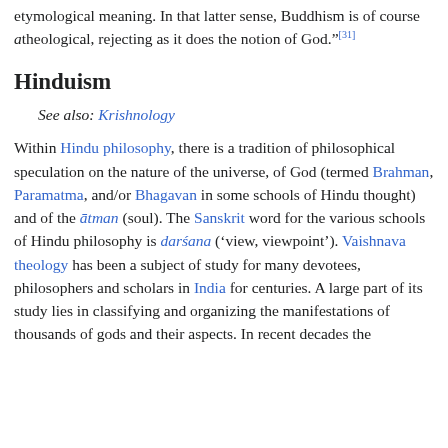etymological meaning. In that latter sense, Buddhism is of course atheological, rejecting as it does the notion of God."[31]
Hinduism
See also: Krishnology
Within Hindu philosophy, there is a tradition of philosophical speculation on the nature of the universe, of God (termed Brahman, Paramatma, and/or Bhagavan in some schools of Hindu thought) and of the ātman (soul). The Sanskrit word for the various schools of Hindu philosophy is darśana ('view, viewpoint'). Vaishnava theology has been a subject of study for many devotees, philosophers and scholars in India for centuries. A large part of its study lies in classifying and organizing the manifestations of thousands of gods and their aspects. In recent decades the